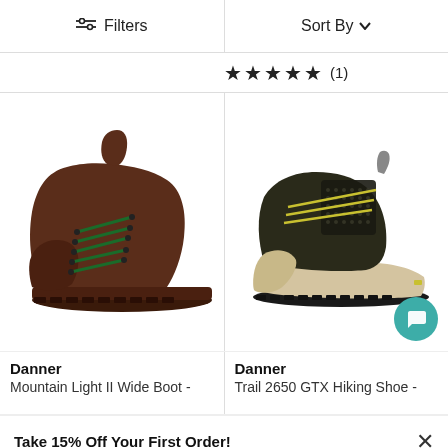Filters   Sort By
★★★★★ (1)
[Figure (photo): Brown leather Danner Mountain Light II Wide Boot with green laces and Vibram sole, side view on white background]
[Figure (photo): Dark brown/black Danner Trail 2650 GTX Hiking Shoe with yellow laces and beige midsole, side view on white background]
Danner
Mountain Light II Wide Boot -
Danner
Trail 2650 GTX Hiking Shoe -
Take 15% Off Your First Order!